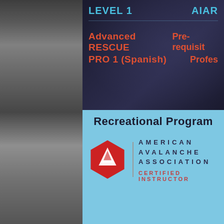[Figure (photo): Black and white photo strip on left side showing snowy/icy mountain or avalanche terrain]
LEVEL 1
AIAR
Advanced RESCUE
Pre-requisit
PRO 1 (Spanish)
Profes
Recreational Program
[Figure (logo): American Avalanche Association Certified Instructor logo - red hexagon with mountain symbol]
[Figure (logo): AIAR - Avalanche Research logo with snowflake symbol]